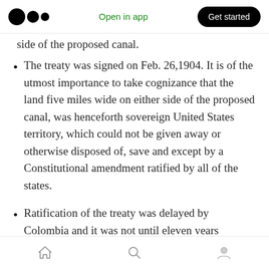Open in app | Get started
side of the proposed canal.
The treaty was signed on Feb. 26,1904. It is of the utmost importance to take cognizance that the land five miles wide on either side of the proposed canal, was henceforth sovereign United States territory, which could not be given away or otherwise disposed of, save and except by a Constitutional amendment ratified by all of the states.
Ratification of the treaty was delayed by Colombia and it was not until eleven years
Home | Search | Profile